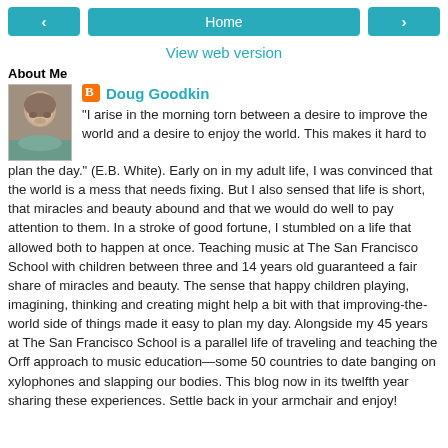< Home >
View web version
About Me
[Figure (photo): Profile photo of Doug Goodkin, a bald man, small headshot]
Doug Goodkin
“I arise in the morning torn between a desire to improve the world and a desire to enjoy the world. This makes it hard to plan the day.” (E.B. White). Early on in my adult life, I was convinced that the world is a mess that needs fixing. But I also sensed that life is short, that miracles and beauty abound and that we would do well to pay attention to them. In a stroke of good fortune, I stumbled on a life that allowed both to happen at once. Teaching music at The San Francisco School with children between three and 14 years old guaranteed a fair share of miracles and beauty. The sense that happy children playing, imagining, thinking and creating might help a bit with that improving-the-world side of things made it easy to plan my day. Alongside my 45 years at The San Francisco School is a parallel life of traveling and teaching the Orff approach to music education—some 50 countries to date banging on xylophones and slapping our bodies. This blog now in its twelfth year sharing these experiences. Settle back in your armchair and enjoy!